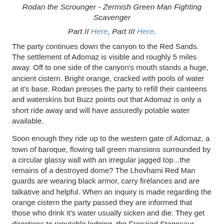Rodan the Scrounger - Zermish Green Man Fighting Scavenger
Part II Here, Part III Here.
The party continues down the canyon to the Red Sands. The settlement of Adomaz is visible and roughly 5 miles away. Off to one side of the canyon's mouth stands a huge, ancient cistern. Bright orange, cracked with pools of water at it's base. Rodan presses the party to refill their canteens and waterskins but Buzz points out that Adomaz is only a short ride away and will have assuredly potable water available.
Soon enough they ride up to the western gate of Adomaz, a town of baroque, flowing tall green mansions surrounded by a circular glassy wall with an irregular jagged top...the remains of a destroyed dome? The Lhovhami Red Man guards are wearing black armor, carry firelances and are talkative and helpful. When an inquiry is made regarding the orange cistern the party passed they are informed that those who drink it's water usually sicken and die. They get directions to reputable lodging, the Frenzied Stegosaur